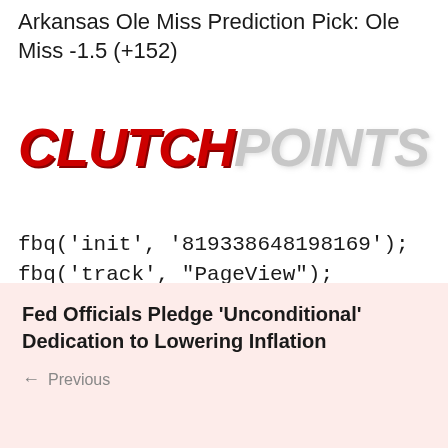Arkansas Ole Miss Prediction Pick: Ole Miss -1.5 (+152)
[Figure (logo): ClutchPoints logo with CLUTCH in bold red italic and POINTS in grey italic]
fbq('init', '819338648198169'); fbq('track', "PageView"); fbq('track', 'ViewContent');
its-a-living
Fed Officials Pledge 'Unconditional' Dedication to Lowering Inflation
← Previous